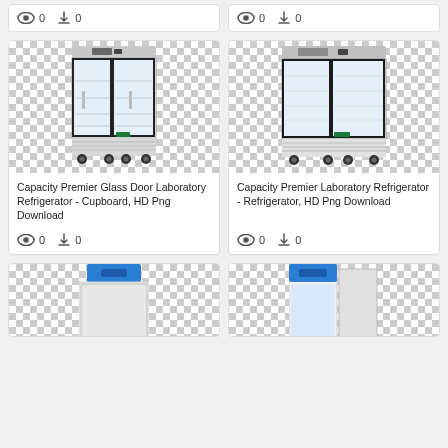[Figure (photo): Partial top of two product cards showing view (eye) and download icons with count 0]
0
0
[Figure (photo): Laboratory refrigerator with two glass sliding doors, white body with stainless steel top panel, on wheels, checkerboard transparent background]
Capacity Premier Glass Door Laboratory Refrigerator - Cupboard, HD Png Download
0
0
[Figure (photo): Laboratory refrigerator with two glass sliding doors, white body with stainless steel top panel, on wheels, checkerboard transparent background (wider model)]
Capacity Premier Laboratory Refrigerator - Refrigerator, HD Png Download
0
0
[Figure (photo): Partial bottom card showing white laboratory refrigerator with blue top panel, checkerboard transparent background]
[Figure (photo): Partial bottom card showing white laboratory refrigerator with blue top panel and open door, checkerboard transparent background]